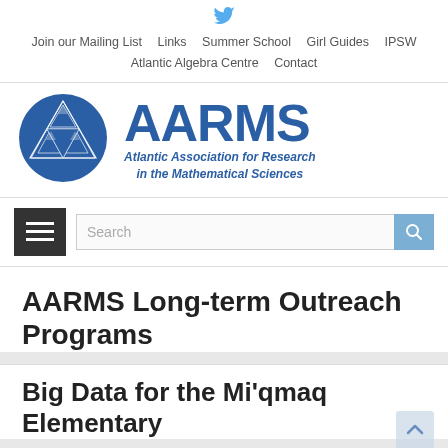Join our Mailing List  Links  Summer School  Girl Guides  IPSW  Atlantic Algebra Centre  Contact
[Figure (logo): AARMS logo: blue circle with fractal triangle pattern, next to bold blue text AARMS and subtitle Atlantic Association for Research in the Mathematical Sciences]
AARMS Long-term Outreach Programs
Big Data for the Mi'qmaq Elementary